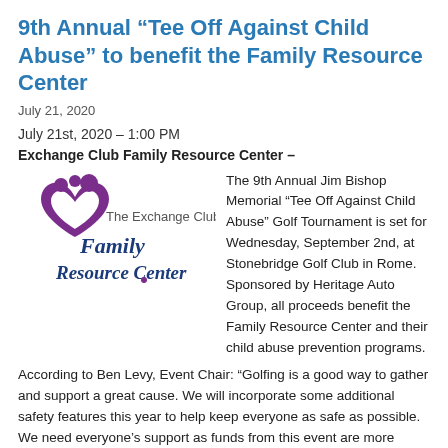9th Annual “Tee Off Against Child Abuse” to benefit the Family Resource Center
July 21, 2020
July 21st, 2020 – 1:00 PM
Exchange Club Family Resource Center –
[Figure (logo): The Exchange Club Family Resource Center logo with purple figures and blue text]
The 9th Annual Jim Bishop Memorial “Tee Off Against Child Abuse” Golf Tournament is set for Wednesday, September 2nd, at Stonebridge Golf Club in Rome. Sponsored by Heritage Auto Group, all proceeds benefit the Family Resource Center and their child abuse prevention programs.
According to Ben Levy, Event Chair: “Golfing is a good way to gather and support a great cause. We will incorporate some additional safety features this year to help keep everyone as safe as possible. We need everyone’s support as funds from this event are more important than ever for the Family Resource Center given COVID impacts. We are happy to have 15 teams already confirmed for our